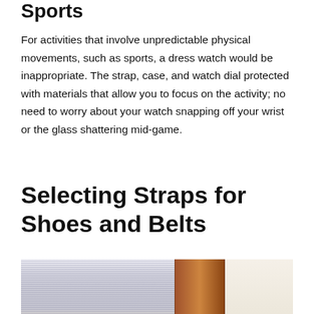Sports
For activities that involve unpredictable physical movements, such as sports, a dress watch would be inappropriate. The strap, case, and watch dial protected with materials that allow you to focus on the activity; no need to worry about your watch snapping off your wrist or the glass shattering mid-game.
Selecting Straps for Shoes and Belts
[Figure (photo): A close-up photo showing a striped light blue and white fabric shirt next to a brown leather belt or strap, with a white garment and beige tile floor visible in the background.]